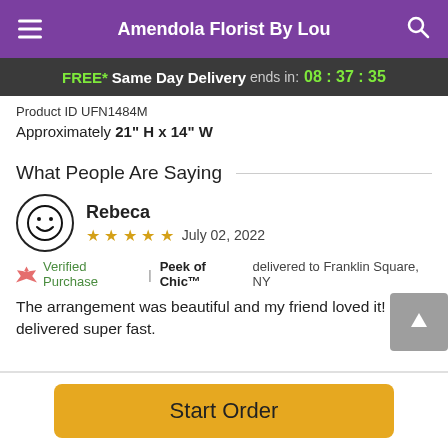Amendola Florist By Lou
FREE* Same Day Delivery ends in: 08:37:35
Product ID UFN1484M
Approximately 21" H x 14" W
What People Are Saying
Rebeca
★★★★★  July 02, 2022
Verified Purchase | Peek of Chic™ delivered to Franklin Square, NY
The arrangement was beautiful and my friend loved it! It was delivered super fast.